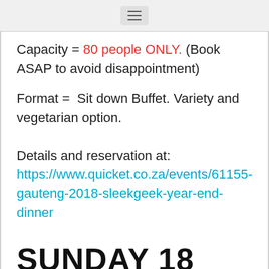≡
Capacity = 80 people ONLY. (Book ASAP to avoid disappointment)
Format =  Sit down Buffet. Variety and vegetarian option.
Details and reservation at: https://www.quicket.co.za/events/61155-gauteng-2018-sleekgeek-year-end-dinner
SUNDAY 18